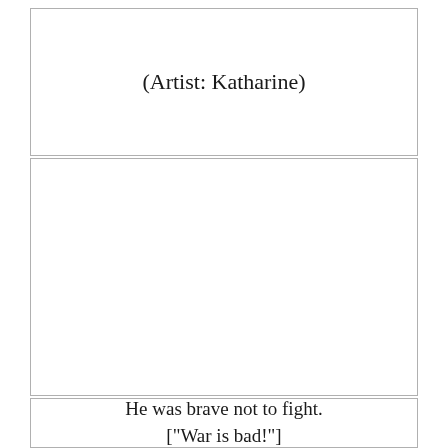(Artist: Katharine)
[Figure (illustration): Empty white panel, blank drawing area for comic/graphic novel page]
He was brave not to fight.
["War is bad!"]